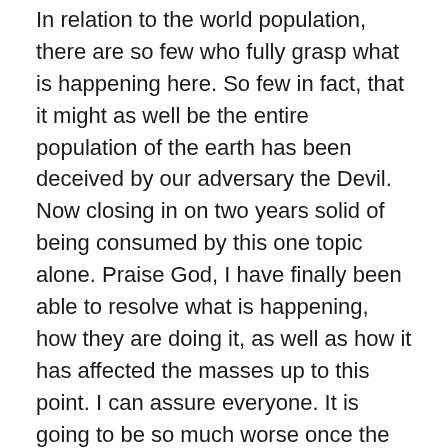In relation to the world population, there are so few who fully grasp what is happening here. So few in fact, that it might as well be the entire population of the earth has been deceived by our adversary the Devil. Now closing in on two years solid of being consumed by this one topic alone. Praise God, I have finally been able to resolve what is happening, how they are doing it, as well as how it has affected the masses up to this point. I can assure everyone. It is going to be so much worse once the masses become “ONE” with these AI Quantum Computers through the coming vaccines. Yes, plural. The first shot of the vaccine may seem harmless, or it might even be the Funvax to cut-off our personal connection to the Spirit of God.
The second shot would then be the AI nanomedicine, as described by the Moderna latest patent. Of course, I am